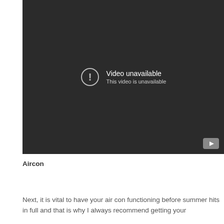[Figure (screenshot): Embedded video player showing 'Video unavailable - This video is unavailable' message on a dark background with a YouTube logo button in the bottom right corner.]
Aircon
Next, it is vital to have your air con functioning before summer hits in full and that is why I always recommend getting your